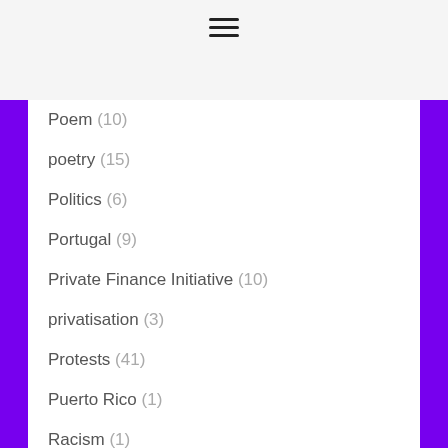[Figure (other): Hamburger menu icon (three horizontal lines)]
Poem (10)
poetry (15)
Politics (6)
Portugal (9)
Private Finance Initiative (10)
privatisation (3)
Protests (41)
Puerto Rico (1)
Racism (1)
Robert Burns (14)
Russia (52)
Russiagate (23)
salmon (4)
Saudi Arabia (4)